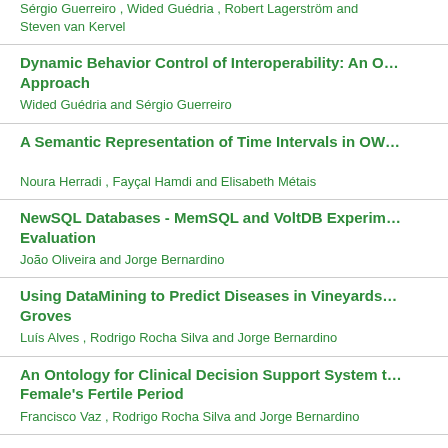Sérgio Guerreiro , Wided Guédria , Robert Lagerström and Steven van Kervel
Dynamic Behavior Control of Interoperability: An O... Approach
Wided Guédria and Sérgio Guerreiro
A Semantic Representation of Time Intervals in OW...
Noura Herradi , Fayçal Hamdi and Elisabeth Métais
NewSQL Databases - MemSQL and VoltDB Experim... Evaluation
João Oliveira and Jorge Bernardino
Using DataMining to Predict Diseases in Vineyards... Groves
Luís Alves , Rodrigo Rocha Silva and Jorge Bernardino
An Ontology for Clinical Decision Support System t... Female's Fertile Period
Francisco Vaz , Rodrigo Rocha Silva and Jorge Bernardino